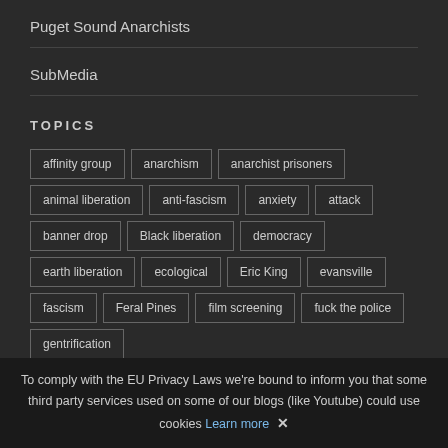Puget Sound Anarchists
SubMedia
TOPICS
affinity group
anarchism
anarchist prisoners
animal liberation
anti-fascism
anxiety
attack
banner drop
Black liberation
democracy
earth liberation
ecological
Eric King
evansville
fascism
Feral Pines
film screening
fuck the police
gentrification
To comply with the EU Privacy Laws we're bound to inform you that some third party services used on some of our blogs (like Youtube) could use cookies Learn more